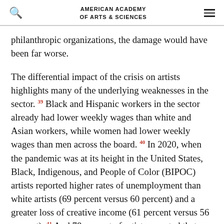AMERICAN ACADEMY OF ARTS & SCIENCES
philanthropic organizations, the damage would have been far worse.
The differential impact of the crisis on artists highlights many of the underlying weaknesses in the sector. 39 Black and Hispanic workers in the sector already had lower weekly wages than white and Asian workers, while women had lower weekly wages than men across the board. 40 In 2020, when the pandemic was at its height in the United States, Black, Indigenous, and People of Color (BIPOC) artists reported higher rates of unemployment than white artists (69 percent versus 60 percent) and a greater loss of creative income (61 percent versus 56 percent). 41 And 78 percent of artists reported that they had no post-pandemic financial recovery